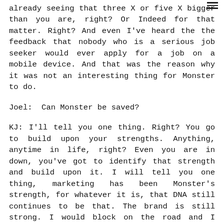already seeing that three X or five X bigger than you are, right? Or Indeed for that matter. Right? And even I've heard the the feedback that nobody who is a serious job seeker would ever apply for a job on a mobile device. And that was the reason why it was not an interesting thing for Monster to do.
Joel:  Can Monster be saved?
KJ: I'll tell you one thing. Right? You go to build upon your strengths. Anything, anytime in life, right? Even you are in down, you've got to identify that strength and build upon it. I will tell you one thing, marketing has been Monster's strength, for whatever it is, that DNA still continues to be that. The brand is still strong. I would block on the road and I asked people, "Do you know Monster?" They said, "Hell yes, absolutely." Everybody knows it. If your brand has a value, people take forever to build brands.